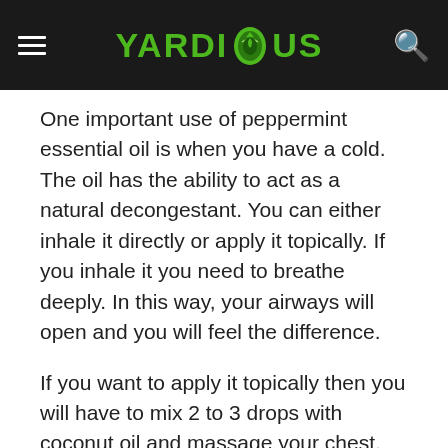YARDIOUS
One important use of peppermint essential oil is when you have a cold. The oil has the ability to act as a natural decongestant. You can either inhale it directly or apply it topically. If you inhale it you need to breathe deeply. In this way, your airways will open and you will feel the difference.
If you want to apply it topically then you will have to mix 2 to 3 drops with coconut oil and massage your chest. Additionally, you can add 9 drops of peppermint oil to a bowl that contains hot water. Then inhale the vapors for 8 minutes. You will feel relieved.